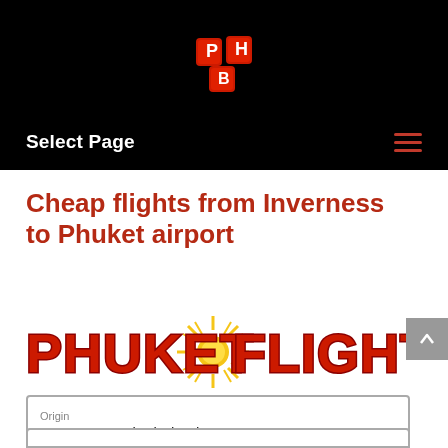[Figure (logo): Phuket Flights stylized logo icon in red and gold at top center of black header bar]
Select Page
Cheap flights from Inverness to Phuket airport
[Figure (logo): PHUKET FLIGHTS text logo in large red letters with gold starburst/sun graphic between the words]
Origin
Inverness, United Kingdom   INV ↕